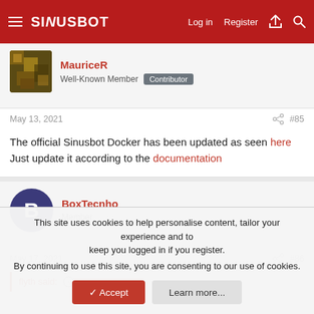SINUSBOT — Log in  Register
MauriceR
Well-Known Member  Contributor
May 13, 2021  #85
The official Sinusbot Docker has been updated as seen here
Just update it according to the documentation
BoxTecnho
Member
May 17, 2021  #86
flyth said:
This site uses cookies to help personalise content, tailor your experience and to keep you logged in if you register.
By continuing to use this site, you are consenting to our use of cookies.